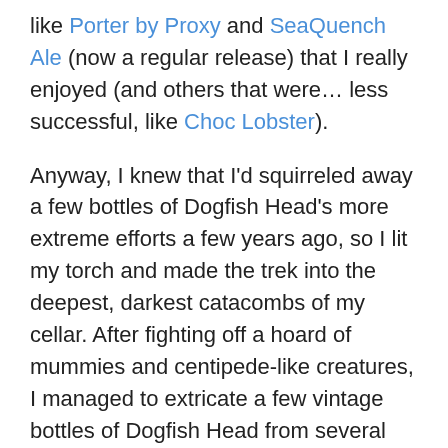like Porter by Proxy and SeaQuench Ale (now a regular release) that I really enjoyed (and others that were… less successful, like Choc Lobster).
Anyway, I knew that I'd squirreled away a few bottles of Dogfish Head's more extreme efforts a few years ago, so I lit my torch and made the trek into the deepest, darkest catacombs of my cellar. After fighting off a hoard of mummies and centipede-like creatures, I managed to extricate a few vintage bottles of Dogfish Head from several years of cobwebs and dust.
As per usual, there are two sides of the coin when drinking well-aged beer. On one side, it's always an interesting and sometimes